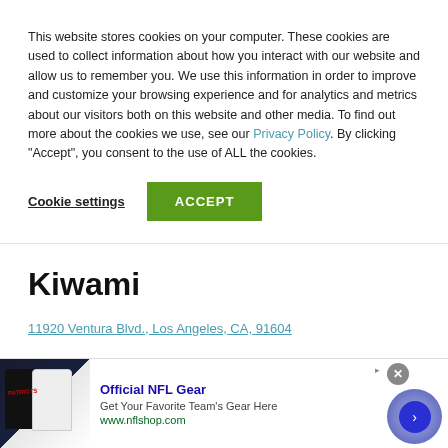This website stores cookies on your computer. These cookies are used to collect information about how you interact with our website and allow us to remember you. We use this information in order to improve and customize your browsing experience and for analytics and metrics about our visitors both on this website and other media. To find out more about the cookies we use, see our Privacy Policy. By clicking "Accept", you consent to the use of ALL the cookies.
Cookie settings
ACCEPT
Kiwami
11920 Ventura Blvd., Los Angeles, CA, 91604
[Figure (screenshot): Advertisement banner for Official NFL Gear showing football jerseys, text 'Official NFL Gear', 'Get Your Favorite Team's Gear Here', 'www.nflshop.com', with a close button and navigation arrow]